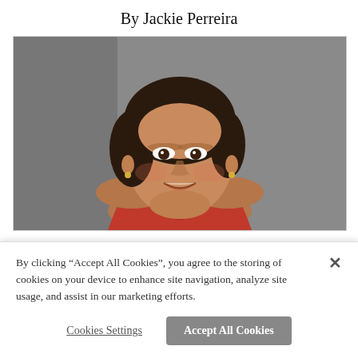By Jackie Perreira
[Figure (photo): Portrait photo of Jackie Perreira, a woman with short dark hair, smiling, wearing a red top, against a gray background.]
By clicking “Accept All Cookies”, you agree to the storing of cookies on your device to enhance site navigation, analyze site usage, and assist in our marketing efforts.
Cookies Settings
Accept All Cookies